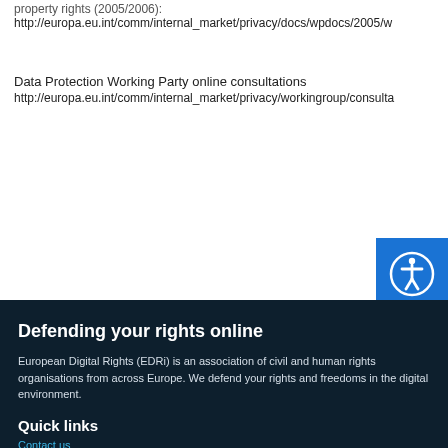property rights (2005/2006):
http://europa.eu.int/comm/internal_market/privacy/docs/wpdocs/2005/w
Data Protection Working Party online consultations
http://europa.eu.int/comm/internal_market/privacy/workingroup/consulta
Defending your rights online
European Digital Rights (EDRi) is an association of civil and human rights organisations from across Europe. We defend your rights and freedoms in the digital environment.
Quick links
Contact us
About us
Media relations